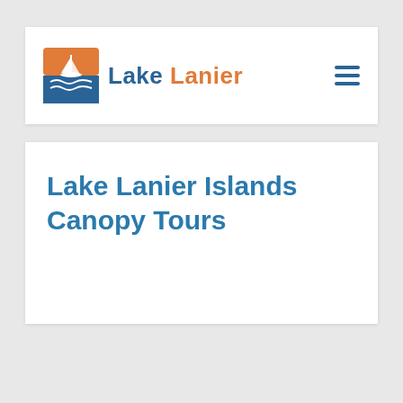[Figure (logo): Lake Lanier logo with sailboat icon and text]
Lake Lanier Islands Canopy Tours